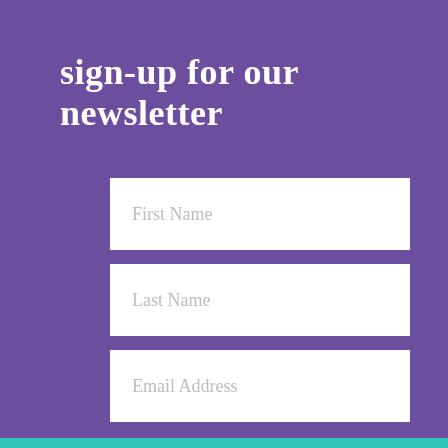sign-up for our newsletter
First Name
Last Name
Email Address
SIGN UP